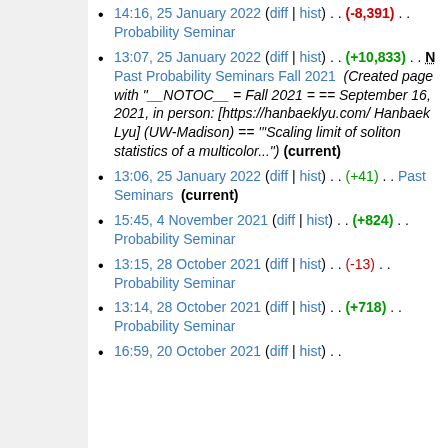14:16, 25 January 2022 (diff | hist) . . (-8,391) . . Probability Seminar
13:07, 25 January 2022 (diff | hist) . . (+10,833) . . N Past Probability Seminars Fall 2021  (Created page with "__NOTOC__ = Fall 2021 = == September 16, 2021, in person: [https://hanbaeklyu.com/ Hanbaek Lyu] (UW-Madison) == '''Scaling limit of soliton statistics of a multicolor...") (current)
13:06, 25 January 2022 (diff | hist) . . (+41) . . Past Seminars  (current)
15:45, 4 November 2021 (diff | hist) . . (+824) . . Probability Seminar
13:15, 28 October 2021 (diff | hist) . . (-13) . . Probability Seminar
13:14, 28 October 2021 (diff | hist) . . (+718) . . Probability Seminar
16:59, 20 October 2021 (diff | hist) . .